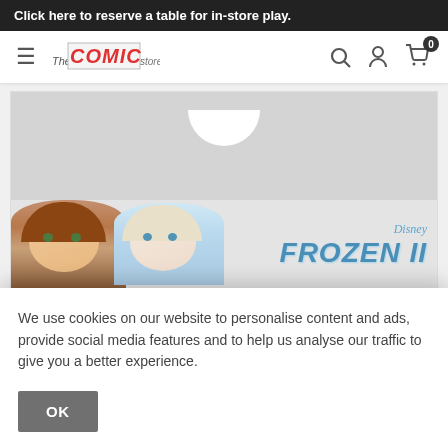Click here to reserve a table for in-store play.
[Figure (screenshot): Website navigation bar with hamburger menu, The Comic Store logo, and icons for search, user account, and shopping cart showing 0 items]
[Figure (photo): Disney Frozen II product packaging showing characters Anna and Elsa with the Disney Frozen II logo on a light grey background with hanger cutout]
We use cookies on our website to personalise content and ads, provide social media features and to help us analyse our traffic to give you a better experience.
OK